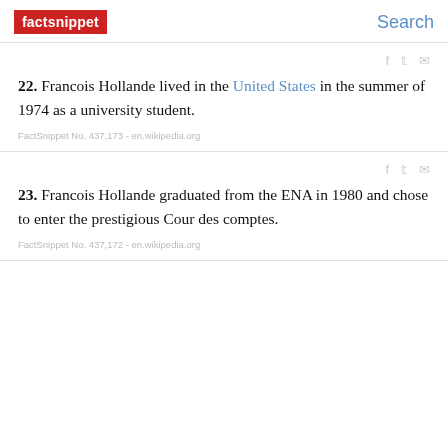factsnippet | Search
22. Francois Hollande lived in the United States in the summer of 1974 as a university student.
FactSnippet No. 437,173 - en.wikipedia.org
23. Francois Hollande graduated from the ENA in 1980 and chose to enter the prestigious Cour des comptes.
FactSnippet No. 437,172 - en.wikipedia.org